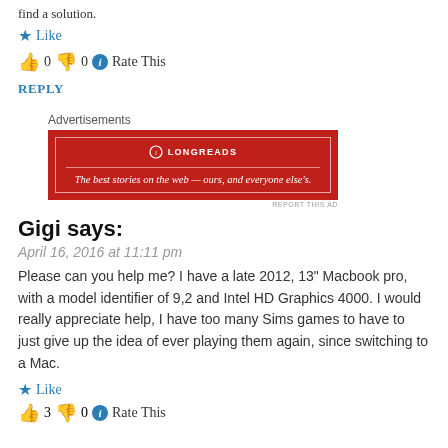find a solution.
★ Like
👍 0 👎 0 ℹ Rate This
REPLY
[Figure (screenshot): Longreads advertisement: red background with white border, logo and tagline 'The best stories on the web — ours, and everyone else's.']
REPORT THIS AD
Gigi says:
April 16, 2016 at 11:11 pm
Please can you help me? I have a late 2012, 13" Macbook pro, with a model identifier of 9,2 and Intel HD Graphics 4000. I would really appreciate help, I have too many Sims games to have to just give up the idea of ever playing them again, since switching to a Mac.
★ Like
👍 3 👎 0 ℹ Rate This